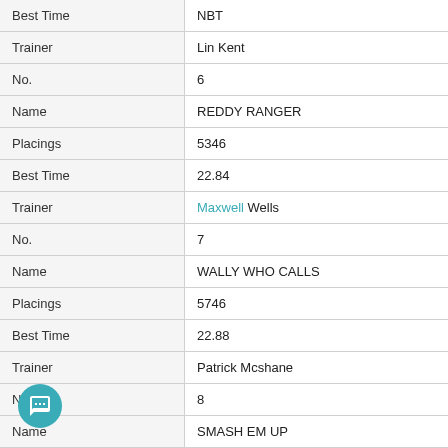| Best Time | NBT |
| Trainer | Lin Kent |
| No. | 6 |
| Name | REDDY RANGER |
| Placings | 5346 |
| Best Time | 22.84 |
| Trainer | Maxwell Wells |
| No. | 7 |
| Name | WALLY WHO CALLS |
| Placings | 5746 |
| Best Time | 22.88 |
| Trainer | Patrick Mcshane |
| No. | 8 |
| Name | SMASH EM UP |
| Placings | 3265 |
| Best Time | 22.86 |
| Trainer | Jason Bloomfield |